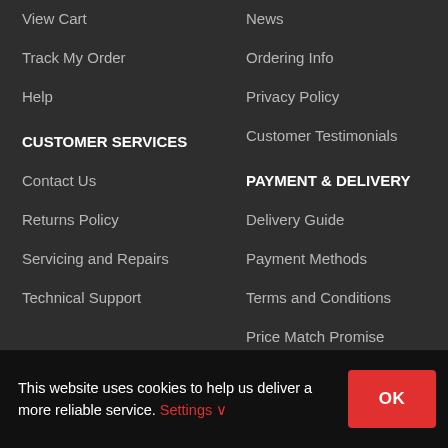View Cart
News
Track My Order
Ordering Info
Help
Privacy Policy
Customer Testimonials
CUSTOMER SERVICES
PAYMENT & DELIVERY
Contact Us
Delivery Guide
Returns Policy
Payment Methods
Servicing and Repairs
Terms and Conditions
Technical Support
Price Match Promise
[Figure (illustration): Three social media icons: Facebook, Twitter, Instagram]
This website uses cookies to help us deliver a more reliable service. Settings OK